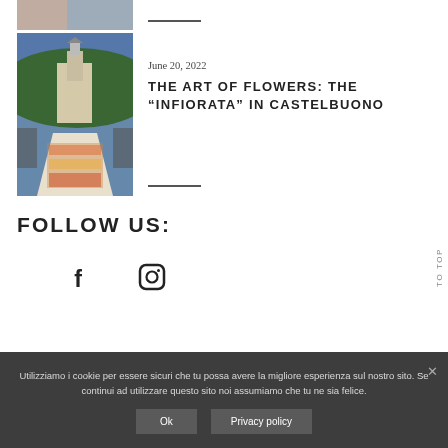[Figure (photo): Cropped top portion of a photo visible at top-left]
[Figure (photo): Photo of a floral street display (Infiorata) in Castelbuono with a church tower in the background]
June 20, 2022
THE ART OF FLOWERS: THE “INFIORATA” IN CASTELBUONO
FOLLOW US:
[Figure (illustration): Facebook icon (f)]
[Figure (illustration): Instagram icon (camera)]
TO TOP
Utilizziamo i cookie per essere sicuri che tu possa avere la migliore esperienza sul nostro sito. Se continui ad utilizzare questo sito noi assumiamo che tu ne sia felice.
Ok
Privacy policy